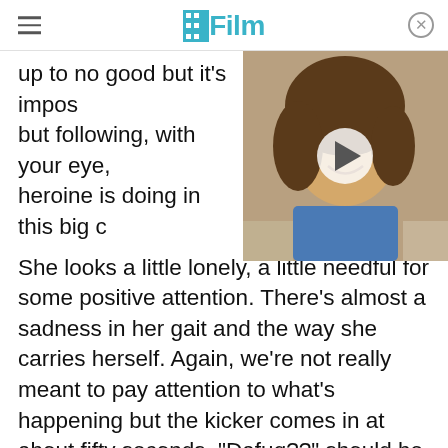/Film
up to no good but it's impos... but following, with your eye... heroine is doing in this big c...
[Figure (photo): A smiling young man with curly hair in a classroom setting, overlaid with a video play button]
She looks a little lonely, a little needful for some positive attention. There's almost a sadness in her gait and the way she carries herself. Again, we're not really meant to pay attention to what's happening but the kicker comes in at about fifty seconds. "Dafuq??" should be what slips between your lips. It's so matter of fact and so even toned that you have to take a mental double take just to make sure you heard right. There hasn't been a guy to worry about but this whole time but when it gets real it gets